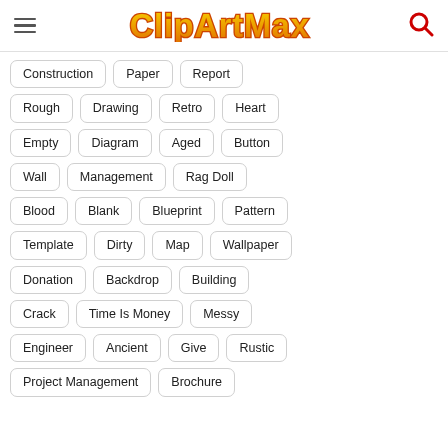ClipArtMax
Construction
Paper
Report
Rough
Drawing
Retro
Heart
Empty
Diagram
Aged
Button
Wall
Management
Rag Doll
Blood
Blank
Blueprint
Pattern
Template
Dirty
Map
Wallpaper
Donation
Backdrop
Building
Crack
Time Is Money
Messy
Engineer
Ancient
Give
Rustic
Project Management
Brochure